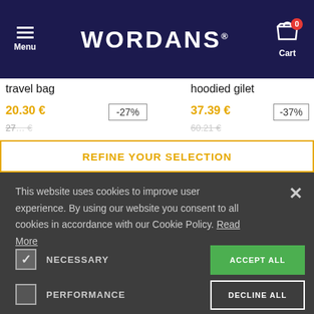[Figure (screenshot): Wordans e-commerce website header with navy background, hamburger menu on left, WORDANS logo in center, shopping cart with badge showing 0 on right]
travel bag
20.30 €
-27%
hoodied gilet
37.39 €
-37%
REFINE YOUR SELECTION
This website uses cookies to improve user experience. By using our website you consent to all cookies in accordance with our Cookie Policy. Read More
ACCEPT ALL
DECLINE ALL
NECESSARY
PERFORMANCE
ADVERTISING
FUNCTIONALITY